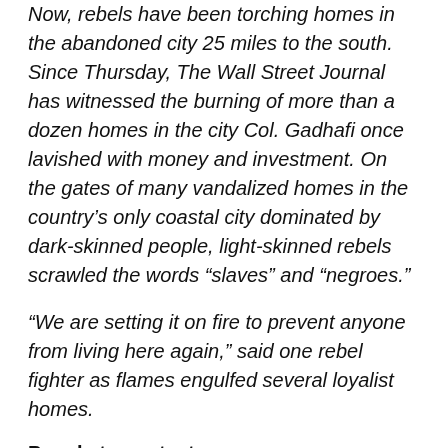Now, rebels have been torching homes in the abandoned city 25 miles to the south. Since Thursday, The Wall Street Journal has witnessed the burning of more than a dozen homes in the city Col. Gadhafi once lavished with money and investment. On the gates of many vandalized homes in the country’s only coastal city dominated by dark-skinned people, light-skinned rebels scrawled the words “slaves” and “negroes.”
“We are setting it on fire to prevent anyone from living here again,” said one rebel fighter as flames engulfed several loyalist homes.
People to contact
This is of course a highly politically inconvenient genocide, and it is therefore of great importance that our readers attempt to bring the attention of the world to this issue.